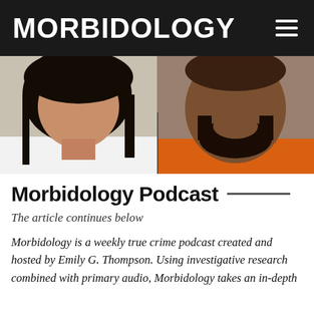MORBIDOLOGY
[Figure (photo): Two mugshot-style photos side by side: left shows a young woman with dark hair wearing a white shirt; right shows a man with a goatee beard wearing an orange shirt/jumpsuit.]
Morbidology Podcast
The article continues below
Morbidology is a weekly true crime podcast created and hosted by Emily G. Thompson. Using investigative research combined with primary audio, Morbidology takes an in-depth